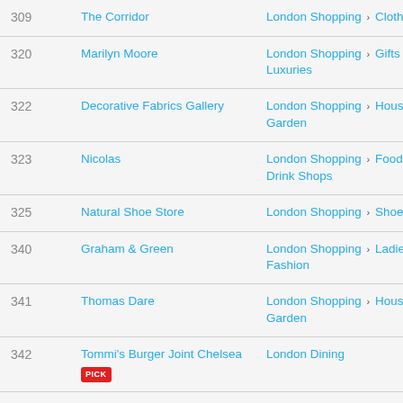| # | Name | Category |
| --- | --- | --- |
| 309 | The Corridor | London Shopping › Clothing |
| 320 | Marilyn Moore | London Shopping › Gifts and Luxuries |
| 322 | Decorative Fabrics Gallery | London Shopping › House and Garden |
| 323 | Nicolas | London Shopping › Food and Drink Shops |
| 325 | Natural Shoe Store | London Shopping › Shoes |
| 340 | Graham & Green | London Shopping › Ladies Fashion |
| 341 | Thomas Dare | London Shopping › House and Garden |
| 342 | Tommi's Burger Joint Chelsea [PICK] | London Dining |
| 343 | Anna French | London Shopping › House |